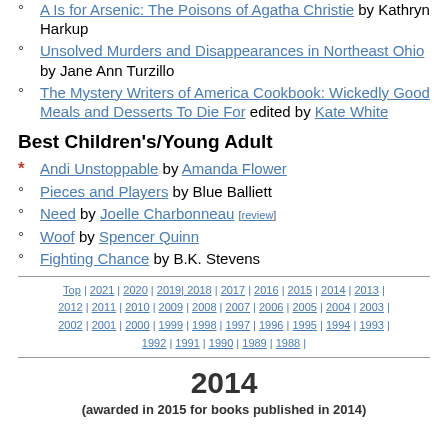A Is for Arsenic: The Poisons of Agatha Christie by Kathryn Harkup
Unsolved Murders and Disappearances in Northeast Ohio by Jane Ann Turzillo
The Mystery Writers of America Cookbook: Wickedly Good Meals and Desserts To Die For edited by Kate White
Best Children's/Young Adult
Andi Unstoppable by Amanda Flower
Pieces and Players by Blue Balliett
Need by Joelle Charbonneau [review]
Woof by Spencer Quinn
Fighting Chance by B.K. Stevens
Top | 2021 | 2020 | 2019 | 2018 | 2017 | 2016 | 2015 | 2014 | 2013 | 2012 | 2011 | 2010 | 2009 | 2008 | 2007 | 2006 | 2005 | 2004 | 2003 | 2002 | 2001 | 2000 | 1999 | 1998 | 1997 | 1996 | 1995 | 1994 | 1993 | 1992 | 1991 | 1990 | 1989 | 1988 |
2014
(awarded in 2015 for books published in 2014)